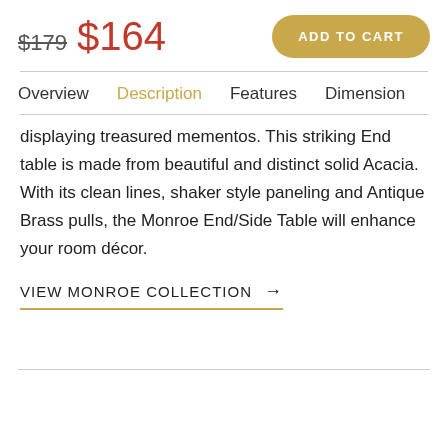$179  $164
ADD TO CART
Overview   Description   Features   Dimension
displaying treasured mementos. This striking End table is made from beautiful and distinct solid Acacia. With its clean lines, shaker style paneling and Antique Brass pulls, the Monroe End/Side Table will enhance your room décor.
VIEW MONROE COLLECTION →